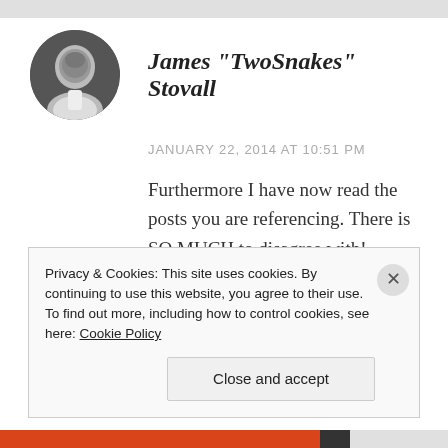[Figure (photo): Black and white circular avatar photo of an older man]
James "TwoSnakes" Stovall
JANUARY 22, 2014 AT 10:51 PM
Furthermore I have now read the posts you are referencing. There is SO MUCH to disagree with! Further proof I am not a pagan I suppose
Privacy & Cookies: This site uses cookies. By continuing to use this website, you agree to their use.
To find out more, including how to control cookies, see here: Cookie Policy